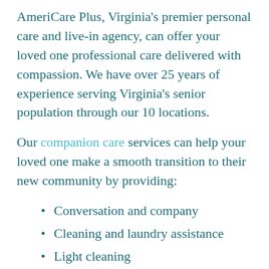AmeriCare Plus, Virginia's premier personal care and live-in agency, can offer your loved one professional care delivered with compassion. We have over 25 years of experience serving Virginia's senior population through our 10 locations.
Our companion care services can help your loved one make a smooth transition to their new community by providing:
Conversation and company
Cleaning and laundry assistance
Light cleaning